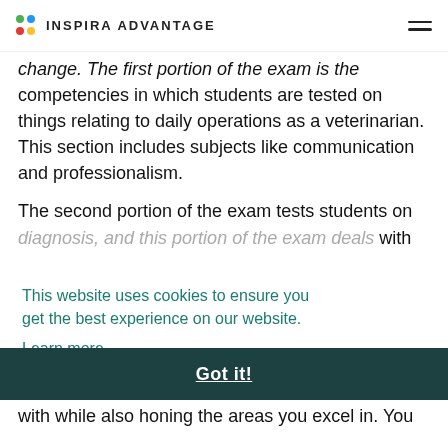INSPIRA ADVANTAGE
change. The first portion of the exam is the competencies in which students are tested on things relating to daily operations as a veterinarian. This section includes subjects like communication and professionalism.
The second portion of the exam tests students on diagnosis, and this portion of the exam deals with [extent]
This website uses cookies to ensure you get the best experience on our website.
Learn more
Got it!
e of le with while also honing the areas you excel in. You